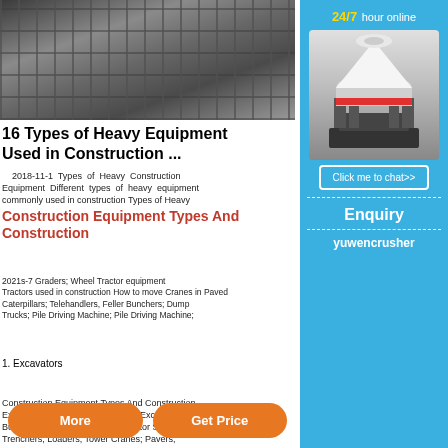[Figure (photo): Heavy construction equipment (crushers/industrial machines) lined up in a warehouse or factory floor, photographed from the front.]
16 Types of Heavy Equipment Used in Construction ...
2018-11-1  Types of Heavy Construction Equipment Different types of heavy equipment commonly used in construction Types of Heavy Construction Equipment Types And Construction Excavators; Backhoe; Dragline Excavator; Bulldozers; Graders; Wheel Tractor Scraper; Trenchers; Loaders; Tower Cranes; Pavers; Compactors; Telehandlers; Feller Bunchers; Dump Trucks; Pile Driving Machine; Pile Driving Machine;
Construction Equipment Types And Construction
1. Excavators
[Figure (infographic): Sidebar advertisement: blue background with '24/7 hour online' text in gold/white, image of a cone crusher machine, 'Click me to chat>>' button, 'Enquiry' text, and 'yuwencrusher' brand text.]
More
Get Price